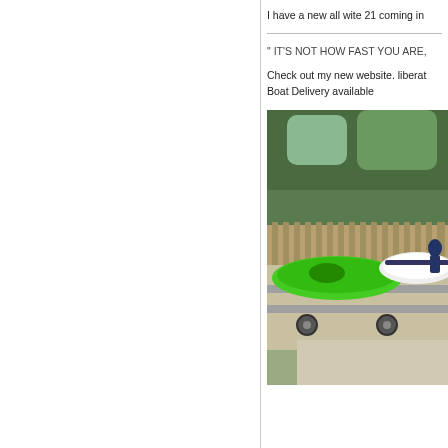I have a new all wite 21 coming in
" IT'S NOT HOW FAST YOU ARE,
Check out my new website. liberat
Boat Delivery available
[Figure (photo): Two boats on a trailer parked on a driveway, one bright green and one white, with trees and a fence in the background.]